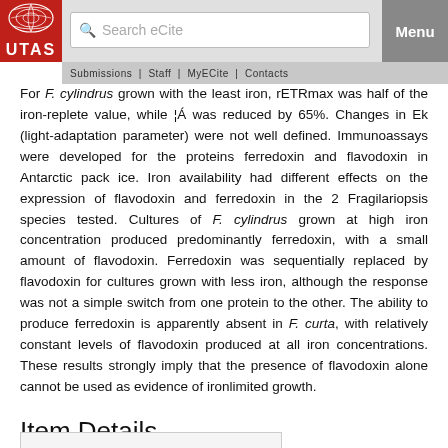UTAS — Search eCite — Menu
For F. cylindrus grown with the least iron, rETRmax was half of the iron-replete value, while ¦Á was reduced by 65%. Changes in Ek (light-adaptation parameter) were not well defined. Immunoassays were developed for the proteins ferredoxin and flavodoxin in Antarctic pack ice. Iron availability had different effects on the expression of flavodoxin and ferredoxin in the 2 Fragilariopsis species tested. Cultures of F. cylindrus grown at high iron concentration produced predominantly ferredoxin, with a small amount of flavodoxin. Ferredoxin was sequentially replaced by flavodoxin for cultures grown with less iron, although the response was not a simple switch from one protein to the other. The ability to produce ferredoxin is apparently absent in F. curta, with relatively constant levels of flavodoxin produced at all iron concentrations. These results strongly imply that the presence of flavodoxin alone cannot be used as evidence of ironlimited growth.
Item Details